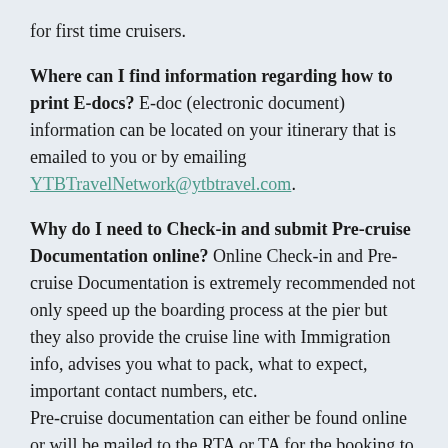for first time cruisers.
Where can I find information regarding how to print E-docs? E-doc (electronic document) information can be located on your itinerary that is emailed to you or by emailing YTBTravelNetwork@ytbtravel.com.
Why do I need to Check-in and submit Pre-cruise Documentation online? Online Check-in and Pre-cruise Documentation is extremely recommended not only speed up the boarding process at the pier but they also provide the cruise line with Immigration info, advises you what to pack, what to expect, important contact numbers, etc. Pre-cruise documentation can either be found online or will be mailed to the RTA or TA for the booking to